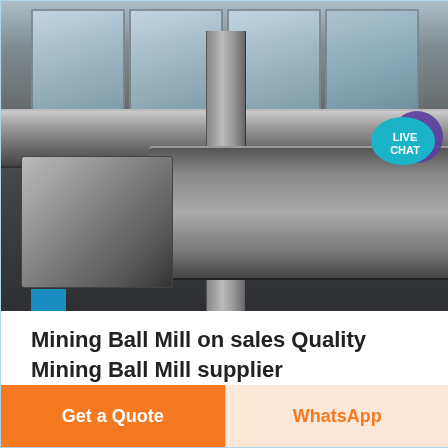[Figure (photo): Industrial ball mill machinery photographed indoors in a factory/workshop setting. Shows heavy cylindrical milling equipment with pipes and ducts, large windows in background letting in natural light. A 'LIVE CHAT' speech bubble overlay appears in upper right corner.]
Mining Ball Mill on sales Quality Mining Ball Mill supplier
Large Discharge Opening Mineral Ore Mining Ball Mill Ball Milling Equipment High Return Iron Ore
Get a Quote
WhatsApp